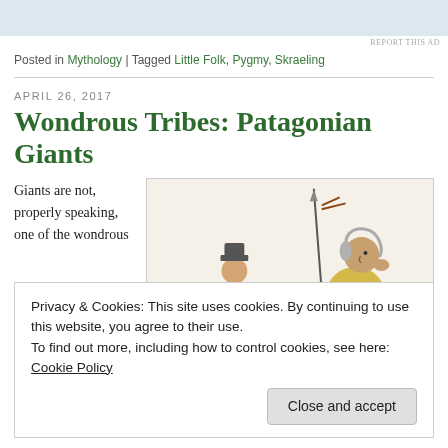[Figure (illustration): Top banner advertisement area, light blue-grey rectangle]
REPORT THIS AD
Posted in Mythology | Tagged Little Folk, Pygmy, Skraeling
APRIL 26, 2017
Wondrous Tribes: Patagonian Giants
Giants are not, properly speaking, one of the wondrous
[Figure (illustration): Colored illustration showing two figures — a shorter figure in a hat and blue coat, and a tall figure in a yellow shirt holding a spear and looking upward, depicted in a historical engraving style]
Privacy & Cookies: This site uses cookies. By continuing to use this website, you agree to their use.
To find out more, including how to control cookies, see here: Cookie Policy
Close and accept